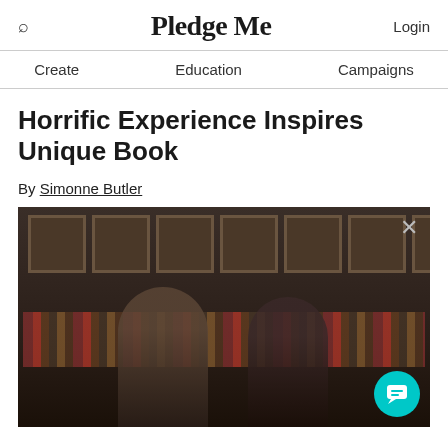Pledge Me
Create   Education   Campaigns
Horrific Experience Inspires Unique Book
By Simonne Butler
[Figure (photo): Two people seated in a dimly lit room with framed artwork on the wall behind them and bookshelves in the background. A chat icon appears in the bottom right corner and an X close button in the top right.]